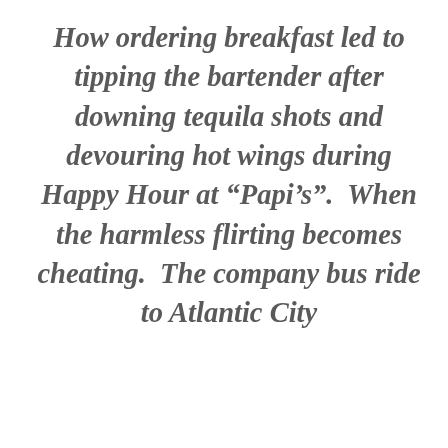How ordering breakfast led to tipping the bartender after downing tequila shots and devouring hot wings during Happy Hour at “Papi’s”.  When the harmless flirting becomes cheating.  The company bus ride to Atlantic City